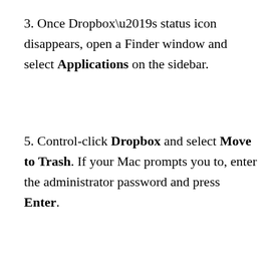3. Once Dropbox’s status icon disappears, open a Finder window and select Applications on the sidebar.
5. Control-click Dropbox and select Move to Trash. If your Mac prompts you to, enter the administrator password and press Enter.